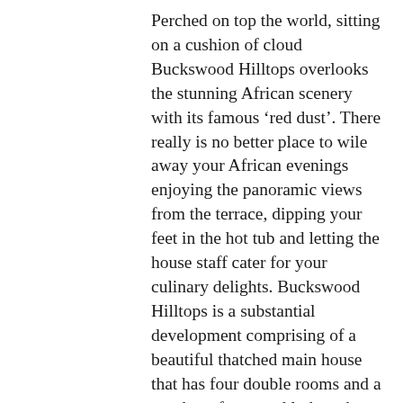Perched on top the world, sitting on a cushion of cloud Buckswood Hilltops overlooks the stunning African scenery with its famous ‘red dust’. There really is no better place to wile away your African evenings enjoying the panoramic views from the terrace, dipping your feet in the hot tub and letting the house staff cater for your culinary delights. Buckswood Hilltops is a substantial development comprising of a beautiful thatched main house that has four double rooms and a number of annexed lodges that can sleep up to 30 (all ensuite).